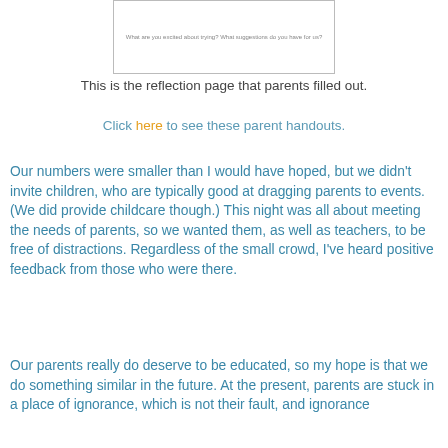[Figure (other): A bordered box showing a reflection page form with small text reading 'What are you excited about trying? What suggestions do you have for us?']
This is the reflection page that parents filled out.
Click here to see these parent handouts.
Our numbers were smaller than I would have hoped, but we didn't invite children, who are typically good at dragging parents to events. (We did provide childcare though.) This night was all about meeting the needs of parents, so we wanted them, as well as teachers, to be free of distractions. Regardless of the small crowd, I've heard positive feedback from those who were there.
Our parents really do deserve to be educated, so my hope is that we do something similar in the future. At the present, parents are stuck in a place of ignorance, which is not their fault, and ignorance